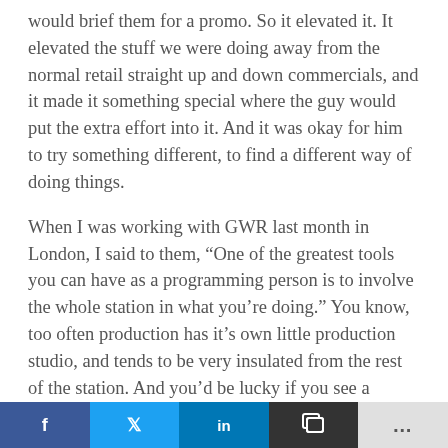would brief them for a promo. So it elevated it. It elevated the stuff we were doing away from the normal retail straight up and down commercials, and it made it something special where the guy would put the extra effort into it. And it was okay for him to try something different, to find a different way of doing things.
When I was working with GWR last month in London, I said to them, “One of the greatest tools you can have as a programming person is to involve the whole station in what you’re doing.” You know, too often production has it’s own little production studio, and tends to be very insulated from the rest of the station. And you’d be lucky if you see a production guy, I mean, there are
f  t  in  [share]  ...